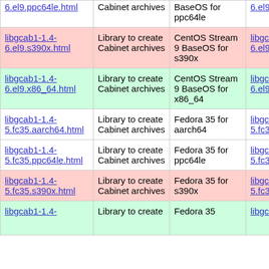| Package | Description | Repository | RPM |
| --- | --- | --- | --- |
| 6.el9.ppc64le.html | Cabinet archives | BaseOS for ppc64le | 6.el9.ppc64le.rpm |
| libgcab1-1.4-6.el9.s390x.html | Library to create Cabinet archives | CentOS Stream 9 BaseOS for s390x | libgcab1-1.4-6.el9.s390x.rpm |
| libgcab1-1.4-6.el9.x86_64.html | Library to create Cabinet archives | CentOS Stream 9 BaseOS for x86_64 | libgcab1-1.4-6.el9.x86_64.rpm |
| libgcab1-1.4-5.fc35.aarch64.html | Library to create Cabinet archives | Fedora 35 for aarch64 | libgcab1-1.4-5.fc35.aarch64.rpm |
| libgcab1-1.4-5.fc35.ppc64le.html | Library to create Cabinet archives | Fedora 35 for ppc64le | libgcab1-1.4-5.fc35.ppc64le.rpm |
| libgcab1-1.4-5.fc35.s390x.html | Library to create Cabinet archives | Fedora 35 for s390x | libgcab1-1.4-5.fc35.s390x.rpm |
| libgcab1-1.4- | Library to create | Fedora 35 | libgcab1-1.4- |